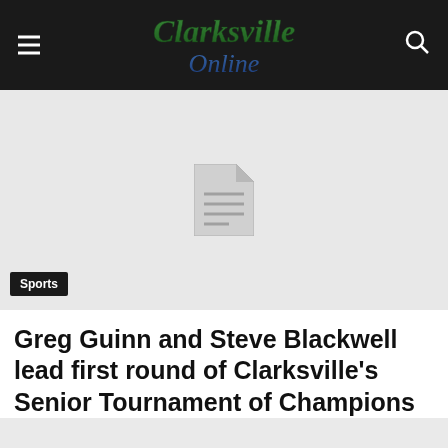Clarksville Online
[Figure (photo): Image placeholder with document icon on light gray background]
Sports
Greg Guinn and Steve Blackwell lead first round of Clarksville's Senior Tournament of Champions
News Staff – Saturday, September 28, 2013